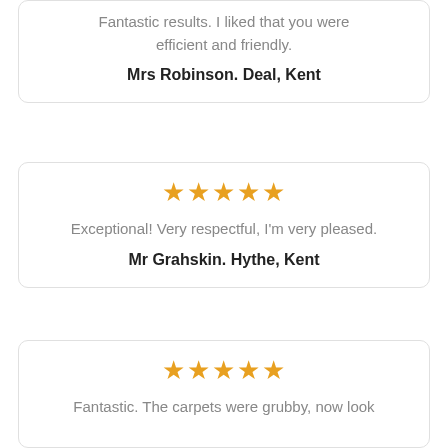Fantastic results. I liked that you were efficient and friendly.
Mrs Robinson. Deal, Kent
★★★★★
Exceptional! Very respectful, I'm very pleased.
Mr Grahskin. Hythe, Kent
★★★★★
Fantastic. The carpets were grubby, now look